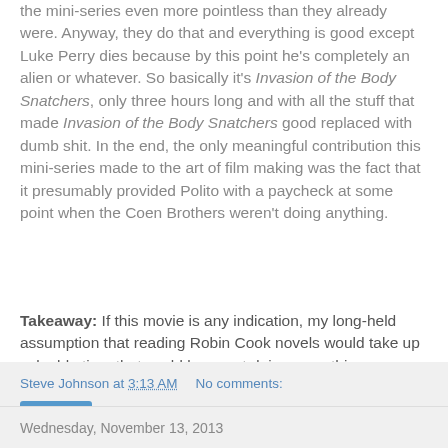the mini-series even more pointless than they already were. Anyway, they do that and everything is good except Luke Perry dies because by this point he's completely an alien or whatever. So basically it's Invasion of the Body Snatchers, only three hours long and with all the stuff that made Invasion of the Body Snatchers good replaced with dumb shit. In the end, the only meaningful contribution this mini-series made to the art of film making was the fact that it presumably provided Polito with a paycheck at some point when the Coen Brothers weren't doing anything.
Takeaway: If this movie is any indication, my long-held assumption that reading Robin Cook novels would take up valuable time that could be spent doing something more prestigious and meaningful, like writing Battlefield Earth-themed furry porn, was right on the money.
Steve Johnson at 3:13 AM   No comments:
Share
Wednesday, November 13, 2013